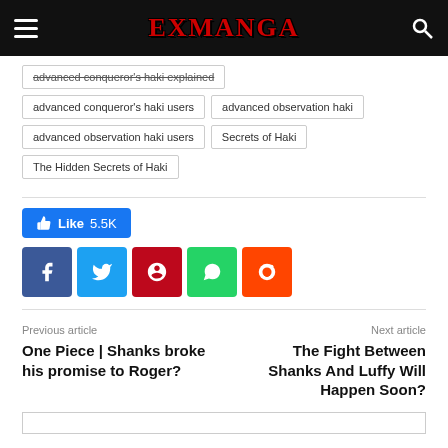EXMANGA
advanced conqueror's haki explained
advanced conqueror's haki users
advanced observation haki
advanced observation haki users
Secrets of Haki
The Hidden Secrets of Haki
[Figure (infographic): Like button showing 5.5K likes and social share buttons for Facebook, Twitter, Pinterest, WhatsApp, Reddit]
Previous article
Next article
One Piece | Shanks broke his promise to Roger?
The Fight Between Shanks And Luffy Will Happen Soon?